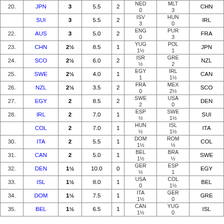| Rank | Country | Pts | SB | W | Opp1 | Opp2 | Last |
| --- | --- | --- | --- | --- | --- | --- | --- |
| 20. | JPN | 3 | 5.5 | 2 | NED 0 | MLT 3 | CHN |
|  | SUI | 3 | 5.5 | 2 | ISV 3 | HUN 0 | IRL |
| 22. | AUS | 3 | 5.0 | 2 | ENG 0 | PUR 3 | FRA |
| 23. | CHN | 2½ | 8.5 | 1 | YUG 1½ | POL 1 | JPN |
| 24. | SCO | 2½ | 6.0 | 2 | ISR ½ | GRE 2 | NZL |
| 25. | SWE | 2½ | 4.0 | 1 | EGY 1 | IRL 1½ | CAN |
| 26. | NZL | 2½ | 3.5 | 2 | FRA 0 | MEX 2½ | SCO |
| 27. | EGY | 2 | 8.5 | 2 | SWE 2 | USA 0 | DEN |
| 28. | IRL | 2 | 7.0 | 1 | ESP ½ | SWE 1½ | SUI |
|  | COL | 2 | 7.0 | 1 | HUN ½ | ISL 1½ | ITA |
| 30. | ITA | 2 | 5.5 | 1 | DOM 1½ | ROM ½ | COL |
| 31. | CAN | 2 | 5.0 | 1 | BEL 1½ | BRA ½ | SWE |
| 32. | DEN | 1½ | 10.0 | 0 | GER ½ | ESP 1 | EGY |
| 33. | ISL | 1½ | 8.0 | 1 | USA 0 | COL 1½ | BEL |
| 34. | DOM | 1½ | 7.5 | 1 | ITA 1½ | GER 0 | GRE |
| 35. | BEL | 1½ | 6.5 | 1 | CAN 1½ | YUG 0 | ISL |